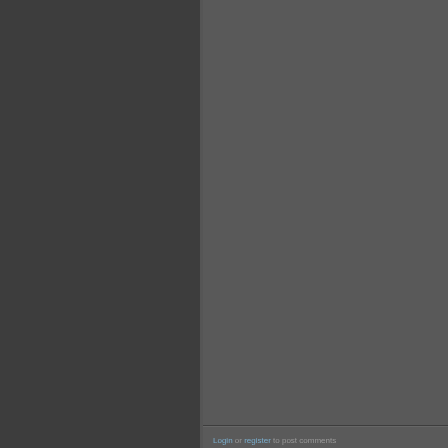[Figure (screenshot): Forum post avatar box showing username 'Rook_H...' with a dark blue/gray avatar image, partially cut off on the right side]
Well, tha... evidence... justified i... materials...
Login or register to post comments
#4
mrjonno
Posts: 726
Joined: 2007-02-26
Offline
I dont th...
I dont thi...
's...
n...
c...
e...
Surely th... recognis...
There co... superna...